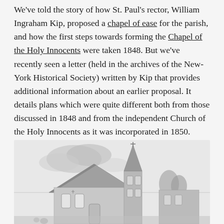We've told the story of how St. Paul's rector, William Ingraham Kip, proposed a chapel of ease for the parish, and how the first steps towards forming the Chapel of the Holy Innocents were taken 1848. But we've recently seen a letter (held in the archives of the New-York Historical Society) written by Kip that provides additional information about an earlier proposal. It details plans which were quite different both from those discussed in 1848 and from the independent Church of the Holy Innocents as it was incorporated in 1850.
[Figure (illustration): Black and white sketch/engraving of a Gothic-style church building with a pointed steeple, cross on top, and surrounding trees and structures. Sky with clouds in the background.]